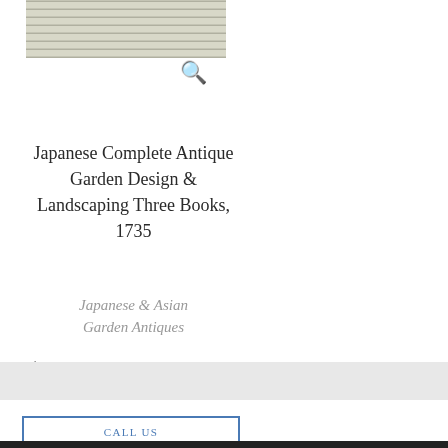[Figure (photo): Antique Japanese garden design book illustration showing architectural garden layout with detailed line drawings]
Japanese Complete Antique Garden Design & Landscaping Three Books, 1735
Japanese & Asian Garden Antiques
$1,100.00
CALL US
(802) 279–7601